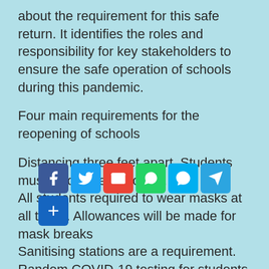about the requirement for this safe return. It identifies the roles and responsibility for key stakeholders to ensure the safe operation of schools during this pandemic.
Four main requirements for the reopening of schools
Distancing three feet apart. Students must follow the protocols.
All students required to wear masks at all times. Allowances will be made for mask breaks
Sanitising stations are a requirement.
Random COVID-19 testing for students will require parents' consent and forms will be